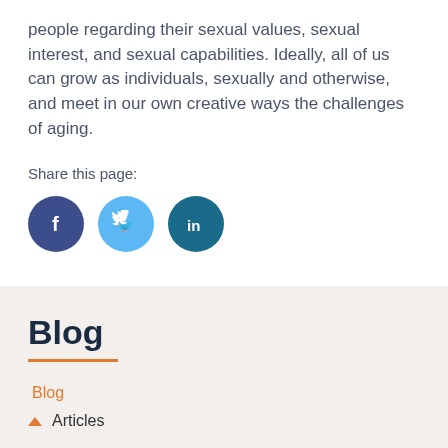people regarding their sexual values, sexual interest, and sexual capabilities. Ideally, all of us can grow as individuals, sexually and otherwise, and meet in our own creative ways the challenges of aging.
Share this page:
[Figure (infographic): Three social media share buttons: Facebook (dark blue circle with 'f'), Twitter (light blue circle with bird icon), LinkedIn (teal circle with 'in')]
Blog
Blog
Articles